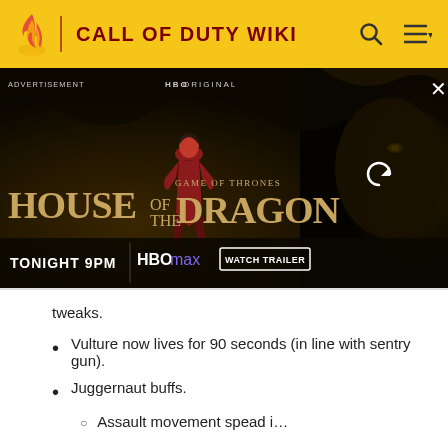CALL OF DUTY WIKI
[Figure (screenshot): HBO Original advertisement for House of the Dragon - Game of Thrones prequel. Shows a woman in red dress against a dragon backdrop. Text: HOUSE OF THE DRAGON, TONIGHT 9PM, HBOMAX, WATCH TRAILER. Has ADVERTISEMENT label, close X button, and refresh icon.]
tweaks.
Vulture now lives for 90 seconds (in line with sentry gun).
Juggernaut buffs.
Assault movement spead i…
Read Full Post